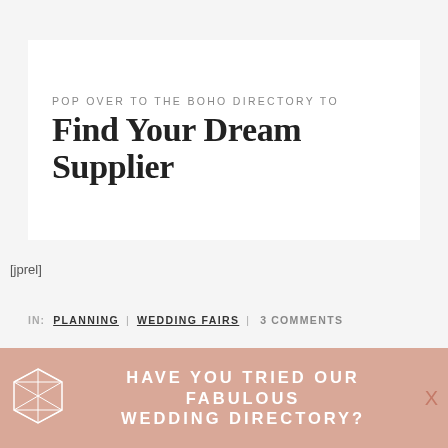POP OVER TO THE BOHO DIRECTORY TO
Find Your Dream Supplier
[jprel]
IN: PLANNING | WEDDING FAIRS | 3 COMMENTS
TAGS: SAVE THE DATE MAGAZINE, WEDDING FAIR, SAVE THE DATE, EAST MIDLANDS WEDDING FAIR, WEDDING EVENT WITH A DIFFERENCE, ALTERNATIVE WEDDING FAIR, DERNY WEDDING FAIR
HAVE YOU TRIED OUR FABULOUS WEDDING DIRECTORY?